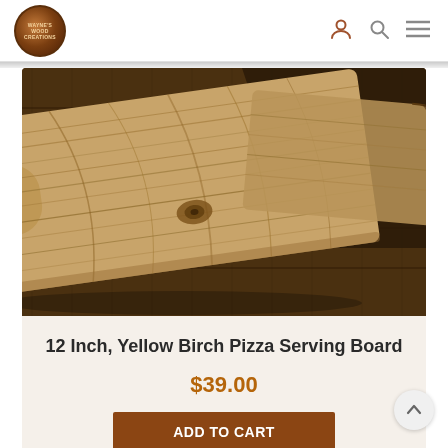Wayne's Wood Creations - navigation header with logo, user icon, search icon, and menu icon
[Figure (photo): Close-up photo of a wooden pizza serving board made from Yellow Birch wood, showing natural wood grain and knots, photographed on a wooden surface background]
12 Inch, Yellow Birch Pizza Serving Board
$39.00
ADD TO CART